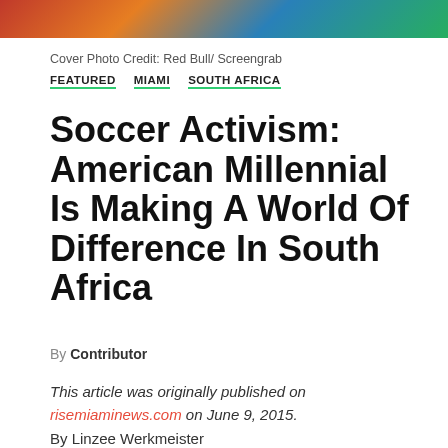[Figure (photo): Color photo strip at top of page showing people, partially cropped]
Cover Photo Credit: Red Bull/ Screengrab
FEATURED   MIAMI   SOUTH AFRICA
Soccer Activism: American Millennial Is Making A World Of Difference In South Africa
By Contributor
This article was originally published on risemiaminews.com on June 9, 2015.
By Linzee Werkmeister
Sam Stokesberry has taken her love of children, God and soccer across the Atlantic to the